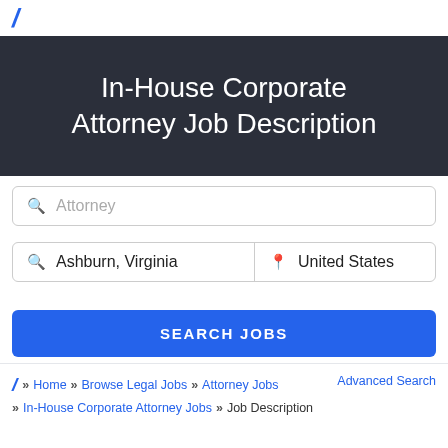/
In-House Corporate Attorney Job Description
[Figure (screenshot): Search box with placeholder text 'Attorney' and a magnifying glass icon]
[Figure (screenshot): Location search row with 'Ashburn, Virginia' on the left and 'United States' on the right with a pin icon]
[Figure (screenshot): Blue SEARCH JOBS button]
/ Home Browse Legal Jobs Attorney Jobs Advanced Search In-House Corporate Attorney Jobs Job Description